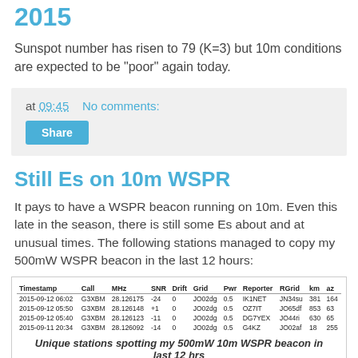2015
Sunspot number has risen to 79 (K=3) but 10m conditions are expected to be "poor" again today.
at 09:45   No comments:
Share
Still Es on 10m WSPR
It pays to have a WSPR beacon running on 10m. Even this late in the season, there is still some Es about and at unusual times. The following stations managed to copy my 500mW WSPR beacon in the last 12 hours:
| Timestamp | Call | MHz | SNR | Drift | Grid | Pwr | Reporter | RGrid | km | az |
| --- | --- | --- | --- | --- | --- | --- | --- | --- | --- | --- |
| 2015-09-12 06:02 | G3XBM | 28.126175 | -24 | 0 | JO02dg | 0.5 | IK1NET | JN34su | 381 | 164 |
| 2015-09-12 05:50 | G3XBM | 28.126148 | +1 | 0 | JO02dg | 0.5 | OZ7IT | JO65df | 853 | 63 |
| 2015-09-12 05:40 | G3XBM | 28.126123 | -11 | 0 | JO02dg | 0.5 | DG7YEX | JO44ri | 630 | 65 |
| 2015-09-11 20:34 | G3XBM | 28.126092 | -14 | 0 | JO02dg | 0.5 | G4KZ | JO02af | 18 | 255 |
Unique stations spotting my 500mW 10m WSPR beacon in last 12 hrs
I